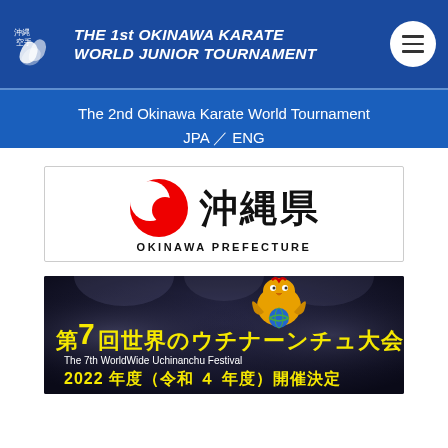THE 1st OKINAWA KARATE WORLD JUNIOR TOURNAMENT
The 2nd Okinawa Karate World Tournament JPA／ENG
[Figure (logo): Okinawa Prefecture logo with red circular symbol and kanji text 沖縄県 and text OKINAWA PREFECTURE]
[Figure (photo): 第7回世界のウチナーンチュ大会 - The 7th WorldWide Uchinanchu Festival banner with dark background, mascot character, and text 2022年度（令和４年度）開催決定]